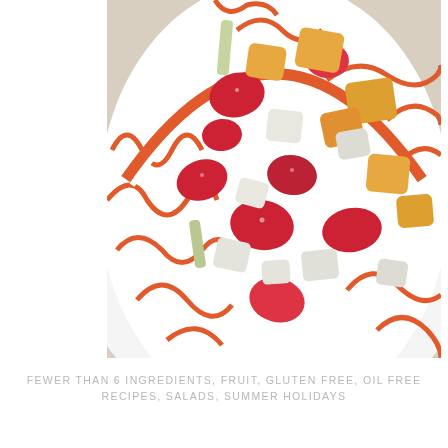[Figure (photo): Overhead close-up photograph of a white bowl with orange decorative swirl pattern, filled with a colorful fresh fruit salad containing watermelon chunks, peach or mango pieces, and pear or jicama cubes.]
FEWER THAN 6 INGREDIENTS, FRUIT, GLUTEN FREE, OIL FREE RECIPES, SALADS, SUMMER HOLIDAYS